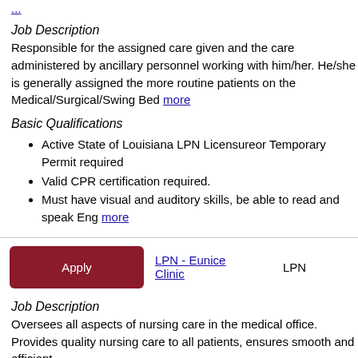...
Job Description
Responsible for the assigned care given and the care administered by ancillary personnel working with him/her. He/she is generally assigned the more routine patients on the Medical/Surgical/Swing Bed more
Basic Qualifications
Active State of Louisiana LPN Licensure or Temporary Permit required
Valid CPR certification required.
Must have visual and auditory skills, b able to read and speak Eng more
|  | Job Title | Type | City | State |
| --- | --- | --- | --- | --- |
| Apply | LPN - Eunice Clinic | LPN | Eunice | LA |
Job Description
Oversees all aspects of nursing care in the medical office. Provides quality nursing care to all patients, ensures smooth and efficient